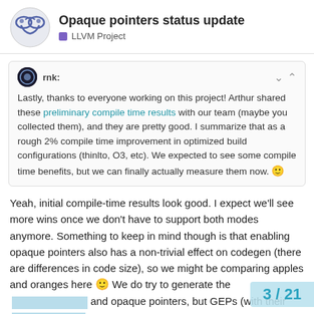Opaque pointers status update — LLVM Project
rnk: Lastly, thanks to everyone working on this project! Arthur shared these preliminary compile time results with our team (maybe you collected them), and they are pretty good. I summarize that as a rough 2% compile time improvement in optimized build configurations (thinlto, O3, etc). We expected to see some compile time benefits, but we can finally actually measure them now. 🙂
Yeah, initial compile-time results look good. I expect we'll see more wins once we don't have to support both modes anymore. Something to keep in mind though is that enabling opaque pointers also has a non-trivial effect on codegen (there are differences in code size), so we might be comparing apples and oranges here 🙂 We do try to generate the same code for typed and opaque pointers, but GEPs (with their "source element type") make that especial...
3 / 21